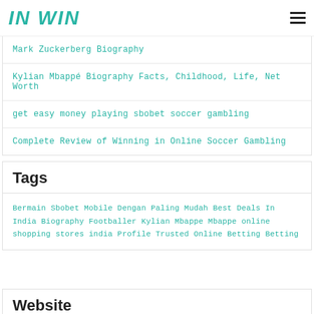IN WIN
Mark Zuckerberg Biography
Kylian Mbappé Biography Facts, Childhood, Life, Net Worth
get easy money playing sbobet soccer gambling
Complete Review of Winning in Online Soccer Gambling
Tags
Bermain Sbobet Mobile Dengan Paling Mudah Best Deals In India Biography Footballer Kylian Mbappe Mbappe online shopping stores india Profile Trusted Online Betting Betting
Website